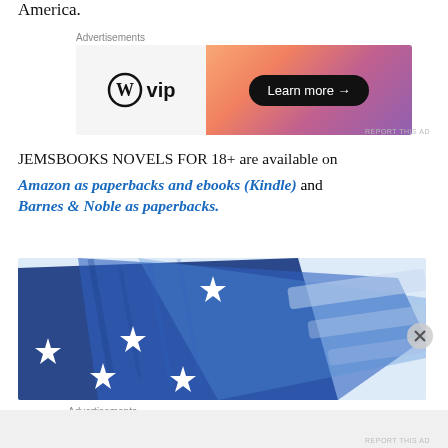America.
[Figure (other): WordPress VIP advertisement banner with orange-pink gradient and 'Learn more' button]
REPORT THIS AD
JEMSBOOKS NOVELS FOR 18+ are available on Amazon as paperbacks and ebooks (Kindle) and Barnes & Noble as paperbacks.
[Figure (illustration): Patriotic blue and white stars and stripes swoosh graphic advertisement]
Advertisements
REPORT THIS AD